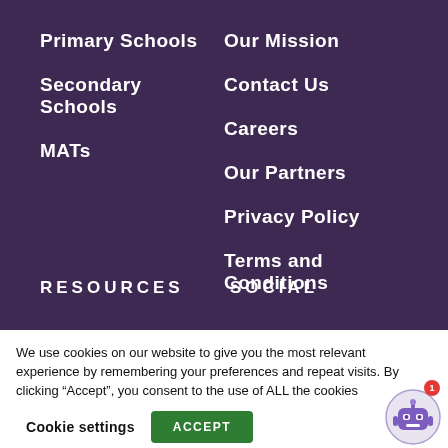Primary Schools
Secondary Schools
MATs
Our Mission
Contact Us
Careers
Our Partners
Privacy Policy
Terms and Conditions
RESOURCES
SOCIAL
We use cookies on our website to give you the most relevant experience by remembering your preferences and repeat visits. By clicking “Accept”, you consent to the use of ALL the cookies